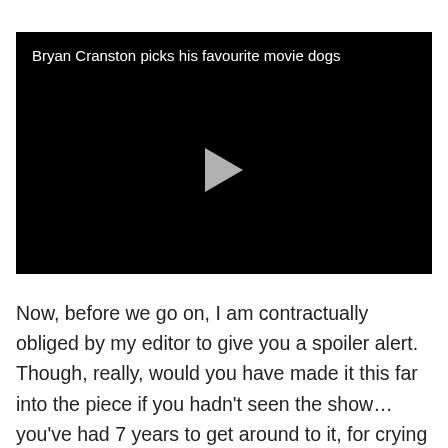[Figure (screenshot): Video player with black background showing title 'Bryan Cranston picks his favourite movie dogs' and a grey play button in the center]
Now, before we go on, I am contractually obliged by my editor to give you a spoiler alert. Though, really, would you have made it this far into the piece if you hadn't seen the show… you've had 7 years to get around to it, for crying out loud. Anyway…